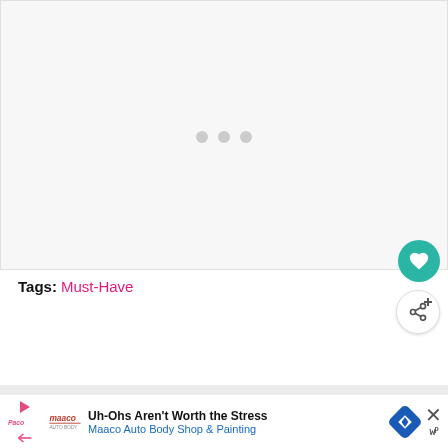[Figure (screenshot): Large white/light gray content area with three gray loading dots centered horizontally, indicating content loading state]
Tags: Must-Have
[Figure (infographic): Row of social sharing buttons: Facebook (dark blue with icon and label), Twitter (blue bird icon), WhatsApp (green), Pinterest (red), Email (gray), More (+). A 'What's Next' preview card on the right shows a thumbnail and the text 'Get Paid to Test and...']
[Figure (screenshot): Advertisement banner: Maaco Auto Body Shop & Painting ad with text 'Uh-Ohs Aren't Worth the Stress' and 'Maaco Auto Body Shop & Painting', blue diamond arrow logo, close button with X]